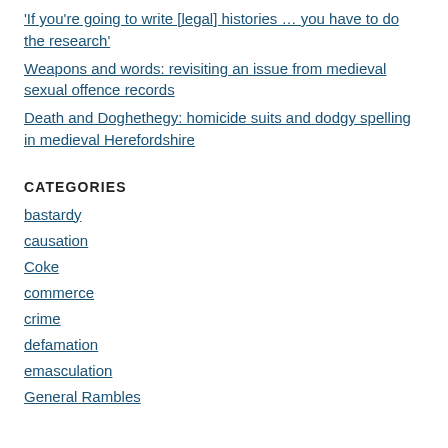'If you're going to write [legal] histories … you have to do the research'
Weapons and words: revisiting an issue from medieval sexual offence records
Death and Doghethegy: homicide suits and dodgy spelling in medieval Herefordshire
CATEGORIES
bastardy
causation
Coke
commerce
crime
defamation
emasculation
General Rambles